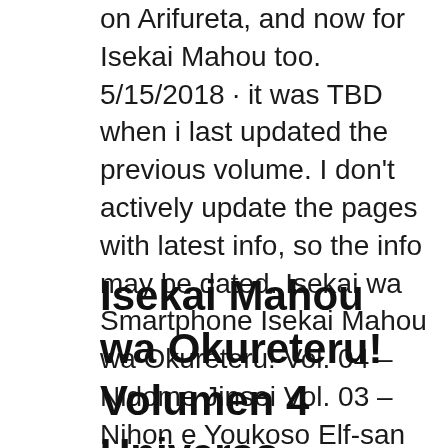on Arifureta, and now for Isekai Mahou too. 5/15/2018 · it was TBD when i last updated the previous volume. I don't actively update the pages with latest info, so the info may be dated. Isekai wa Smartphone Isekai Mahou wa Okureteru! Vol. 04 – Nidome Jinsei Vol. 03 – Nihon e Youkoso Elf-san
Isekai Mahou wa Okureteru! Volumen 4 Universo Novelas
[Figure (photo): Broken image placeholder with alt text: isekai mahou wa okureteru volume 3 pdf]
Tensei Shitara Slime Datta Ken Volume